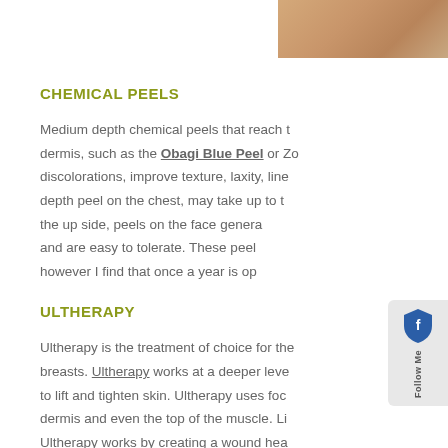[Figure (photo): Close-up photo strip of skin texture, warm peach/tan tones, upper right corner]
CHEMICAL PEELS
Medium depth chemical peels that reach the dermis, such as the Obagi Blue Peel or Zo discolorations, improve texture, laxity, line depth peel on the chest, may take up to t the up side, peels on the face genera and are easy to tolerate. These peel however I find that once a year is op
ULTHERAPY
Ultherapy is the treatment of choice for the breasts. Ultherapy works at a deeper leve to lift and tighten skin. Ultherapy uses foc dermis and even the top of the muscle. Li Ultherapy works by creating a wound hea areas are at a deeper level we see more t